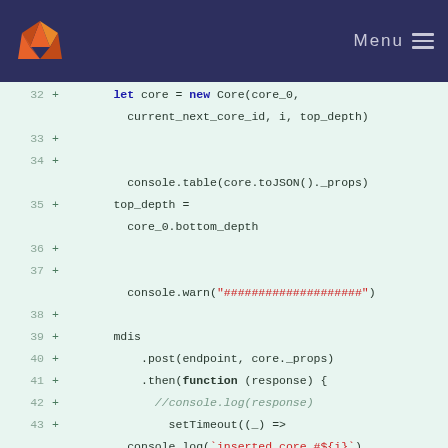Menu
[Figure (screenshot): GitLab code diff viewer showing lines 32-45 of JavaScript code with added lines (marked with +). Code includes: let core = new Core(core_0, current_next_core_id, i, top_depth), console.table(core.toJSON()._props), top_depth = core_0.bottom_depth, console.warn with hash string, mdis.post and .then(function(response) chain with setTimeout and console.log, and .catch(function(error) start.]